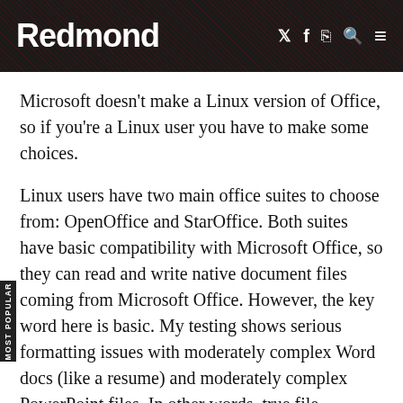Redmond
Microsoft doesn't make a Linux version of Office, so if you're a Linux user you have to make some choices.
Linux users have two main office suites to choose from: OpenOffice and StarOffice. Both suites have basic compatibility with Microsoft Office, so they can read and write native document files coming from Microsoft Office. However, the key word here is basic. My testing shows serious formatting issues with moderately complex Word docs (like a resume) and moderately complex PowerPoint files. In other words, true file interoperability isn't quite there yet for serious use.
A better option is to simply run OpenOffice or StarOffice on your Windows clients and use the